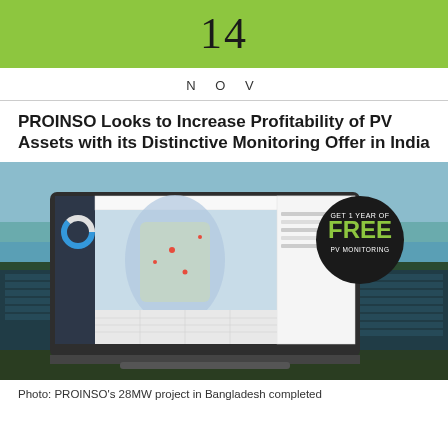14
NOV
PROINSO Looks to Increase Profitability of PV Assets with its Distinctive Monitoring Offer in India
[Figure (photo): Aerial photo of large solar PV farm in Bangladesh with a laptop showing a PV monitoring dashboard overlaid. A badge reads 'GET 1 YEAR OF FREE PV MONITORING'.]
Photo: PROINSO's 28MW project in Bangladesh completed